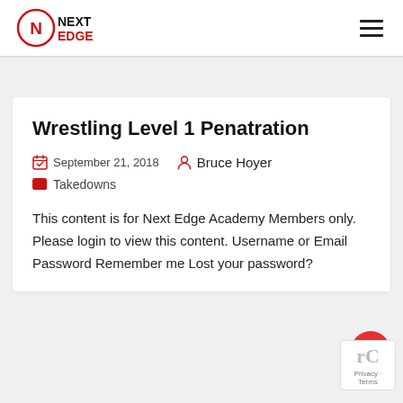Next Edge — navigation header with logo and hamburger menu
Wrestling Level 1 Penatration
September 21, 2018   Bruce Hoyer   Takedowns
This content is for Next Edge Academy Members only. Please login to view this content. Username or Email Password Remember me Lost your password?